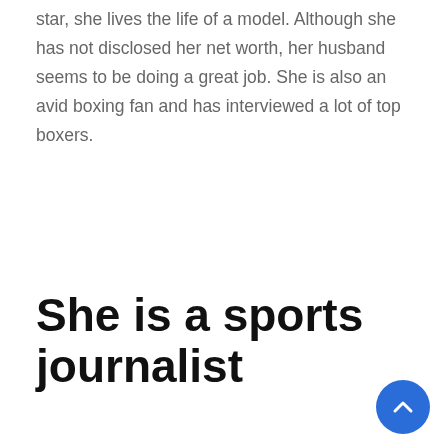star, she lives the life of a model. Although she has not disclosed her net worth, her husband seems to be doing a great job. She is also an avid boxing fan and has interviewed a lot of top boxers.
She is a sports journalist
The American-born sports journalist is the daughter of a Mexican immigrant. Her parents, both from Mexico, moved to the US before she was born. Her father worked in the hotel industry and her mother was a homemaker. Adriana is fluent in English and speaks Spanish. She currently works for Fox Deportes as a sports producer. She has covered boxing for the network and has a YouTube